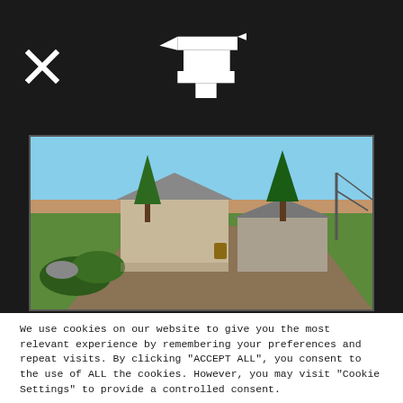[Figure (logo): Dark header bar with white X close icon on left and white anvil/forge logo in center]
[Figure (screenshot): 3D game scene showing a rural farmhouse with trees, dirt road, and outbuildings on elevated terrain, aerial perspective]
We use cookies on our website to give you the most relevant experience by remembering your preferences and repeat visits. By clicking "ACCEPT ALL", you consent to the use of ALL the cookies. However, you may visit "Cookie Settings" to provide a controlled consent.
Cookie Settings | REJECT ALL | ACCEPT ALL